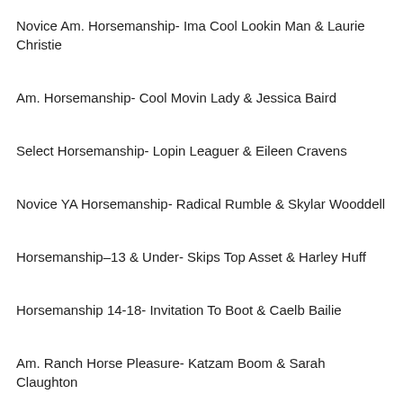Novice Am. Horsemanship- Ima Cool Lookin Man & Laurie Christie
Am. Horsemanship- Cool Movin Lady & Jessica Baird
Select Horsemanship- Lopin Leaguer & Eileen Cravens
Novice YA Horsemanship- Radical Rumble & Skylar Wooddell
Horsemanship–13 & Under- Skips Top Asset & Harley Huff
Horsemanship 14-18- Invitation To Boot & Caelb Bailie
Am. Ranch Horse Pleasure- Katzam Boom & Sarah Claughton